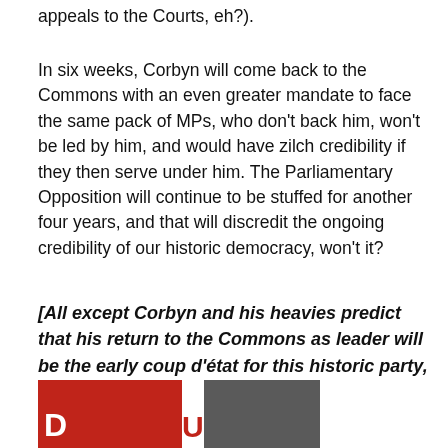appeals to the Courts, eh?).
In six weeks, Corbyn will come back to the Commons with an even greater mandate to face the same pack of MPs, who don't back him, won't be led by him, and would have zilch credibility if they then serve under him. The Parliamentary Opposition will continue to be stuffed for another four years, and that will discredit the ongoing credibility of our historic democracy, won't it?
[All except Corbyn and his heavies predict that his return to the Commons as leader will be the early coup d'état for this historic party, eh?]
[Figure (photo): Photo showing two people side by side, left portion has a red background with partial text 'D' and 'U' visible, right portion shows a person's face with glasses against dark background.]